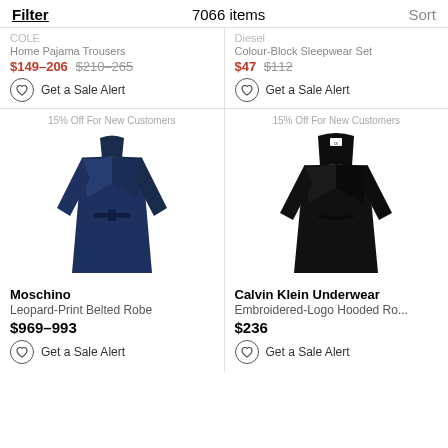Filter   7066 items   Sort
COLE Home Pajama Trousers $149–206 $210–265 Get a Sale Alert
Diesel Colour-Block Sleepwear Set $47 $112 Get a Sale Alert
15% Off For New Customers
[Figure (photo): Navy blue leopard-print belted robe on white background]
Moschino Leopard-Print Belted Robe $969–993 Get a Sale Alert
15% Off For New Customers
[Figure (photo): Black embroidered-logo hooded robe on white background]
Calvin Klein Underwear Embroidered-Logo Hooded Ro... $236 Get a Sale Alert